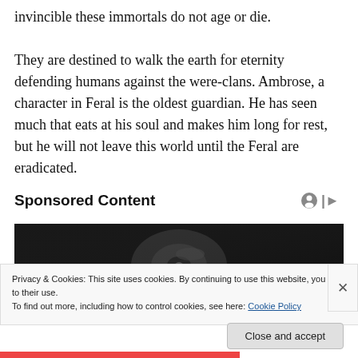invincible these immortals do not age or die.
They are destined to walk the earth for eternity defending humans against the were-clans. Ambrose, a character in Feral is the oldest guardian. He has seen much that eats at his soul and makes him long for rest, but he will not leave this world until the Feral are eradicated.
Sponsored Content
[Figure (photo): Black and white photo of a mechanical or audio device (possibly a turntable or speaker), shot from close angle in dark tones.]
Privacy & Cookies: This site uses cookies. By continuing to use this website, you agree to their use.
To find out more, including how to control cookies, see here: Cookie Policy
Close and accept